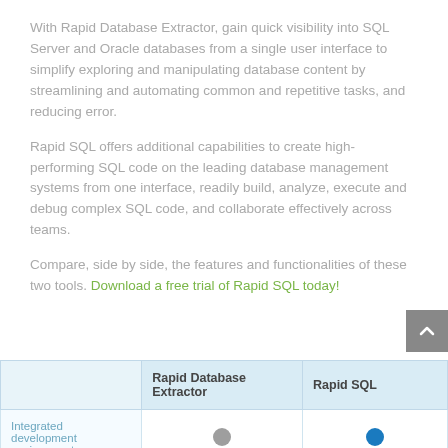With Rapid Database Extractor, gain quick visibility into SQL Server and Oracle databases from a single user interface to simplify exploring and manipulating database content by streamlining and automating common and repetitive tasks, and reducing error.
Rapid SQL offers additional capabilities to create high-performing SQL code on the leading database management systems from one interface, readily build, analyze, execute and debug complex SQL code, and collaborate effectively across teams.
Compare, side by side, the features and functionalities of these two tools. Download a free trial of Rapid SQL today!
|  | Rapid Database Extractor | Rapid SQL |
| --- | --- | --- |
| Integrated development environment | ● | ● |